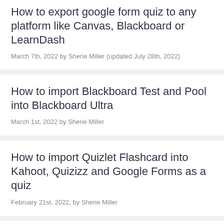How to export google form quiz to any platform like Canvas, Blackboard or LearnDash
March 7th, 2022 by Sherie Miller (updated July 28th, 2022)
How to import Blackboard Test and Pool into Blackboard Ultra
March 1st, 2022 by Sherie Miller
How to import Quizlet Flashcard into Kahoot, Quizizz and Google Forms as a quiz
February 21st, 2022, by Sherie Miller
Guide to game-based learning platforms